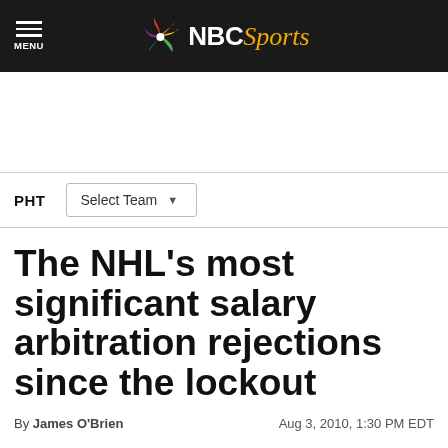NBC Sports
PHT  Select Team
The NHL's most significant salary arbitration rejections since the lockout
By James O'Brien  Aug 3, 2010, 1:30 PM EDT